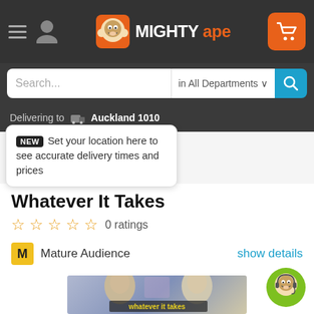Mighty Ape - navigation header with hamburger menu, user icon, Mighty Ape logo, and cart button
Search... in All Departments
Delivering to Auckland 1010
NEW Set your location here to see accurate delivery times and prices
Whatever It Takes
0 ratings
M Mature Audience show details
[Figure (photo): Movie cover for 'Whatever It Takes' showing two young men side by side with text overlay]